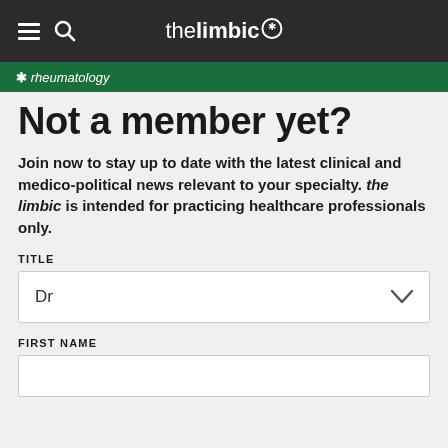thelimbic*
* rheumatology
Not a member yet?
Join now to stay up to date with the latest clinical and medico-political news relevant to your specialty. the limbic is intended for practicing healthcare professionals only.
TITLE
Dr
FIRST NAME